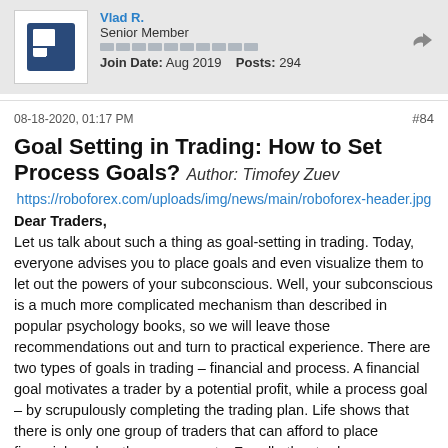Senior Member | Join Date: Aug 2019 | Posts: 294
08-18-2020, 01:17 PM  #84
Goal Setting in Trading: How to Set Process Goals? Author: Timofey Zuev
https://roboforex.com/uploads/img/news/main/roboforex-header.jpg Dear Traders,
Let us talk about such a thing as goal-setting in trading. Today, everyone advises you to place goals and even visualize them to let out the powers of your subconscious. Well, your subconscious is a much more complicated mechanism than described in popular psychology books, so we will leave those recommendations out and turn to practical experience. There are two types of goals in trading – financial and process. A financial goal motivates a trader by a potential profit, while a process goal – by scrupulously completing the trading plan. Life shows that there is only one group of traders that can afford to place financial goals – they are experts. For all other traders, process goals will be much more efficient. In fact, for experts,